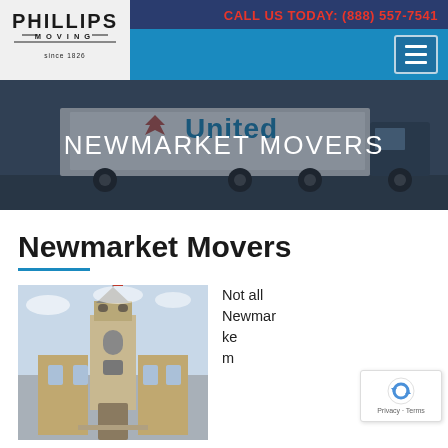[Figure (logo): Phillips Moving since 1826 logo — black block text with horizontal rules]
CALL US TODAY: (888) 557-7541
[Figure (illustration): Hamburger/menu icon button with three horizontal white lines on blue background]
[Figure (photo): Hero banner showing a United Van Lines moving truck driving on a road, with dark overlay]
NEWMARKET MOVERS
Newmarket Movers
[Figure (photo): Photo of a historic stone church or government building with a tall clock tower, flagpole visible at top]
Not all Newmar ke m